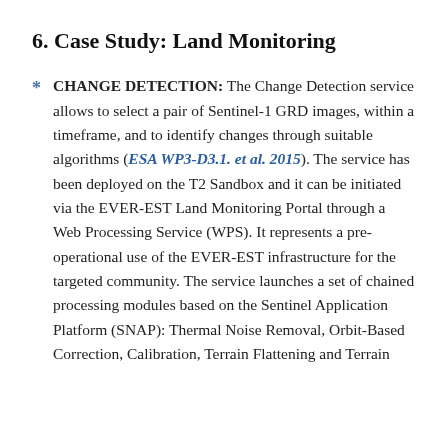6. Case Study: Land Monitoring
CHANGE DETECTION: The Change Detection service allows to select a pair of Sentinel-1 GRD images, within a timeframe, and to identify changes through suitable algorithms (ESA WP3-D3.1. et al. 2015). The service has been deployed on the T2 Sandbox and it can be initiated via the EVER-EST Land Monitoring Portal through a Web Processing Service (WPS). It represents a pre-operational use of the EVER-EST infrastructure for the targeted community. The service launches a set of chained processing modules based on the Sentinel Application Platform (SNAP): Thermal Noise Removal, Orbit-Based Correction, Calibration, Terrain Flattening and Terrain